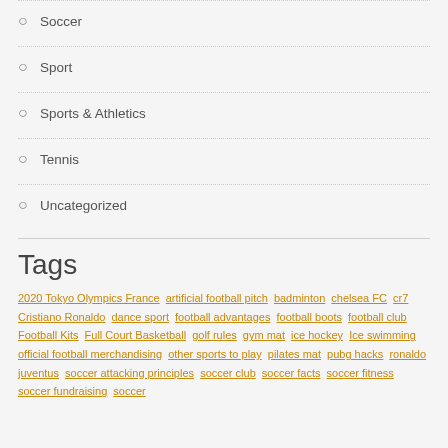Soccer
Sport
Sports & Athletics
Tennis
Uncategorized
Tags
2020 Tokyo Olympics France artificial football pitch badminton chelsea FC cr7 Cristiano Ronaldo dance sport football advantages football boots football club Football Kits Full Court Basketball golf rules gym mat ice hockey Ice swimming official football merchandising other sports to play pilates mat pubg hacks ronaldo juventus soccer attacking principles soccer club soccer facts soccer fitness soccer fundraising soccer